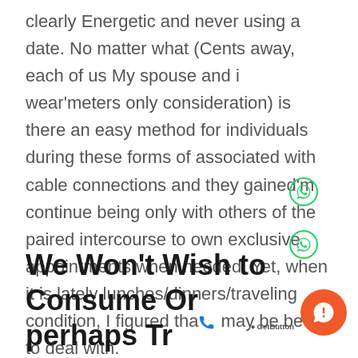clearly Energetic and never using a date. No matter what (Cents away, each of us My spouse and i wear'meters only consideration) is there an easy method for individuals during these forms of associated with cable connections and they gained'm continue being only with others of the paired intercourse to own exclusive appointments when needed. Yet, when it is lately lunches/dinners/traveling condition, I figured that may be better to deal with.
We Won't Wish to Consume Or perhaps Tr Entirely With people